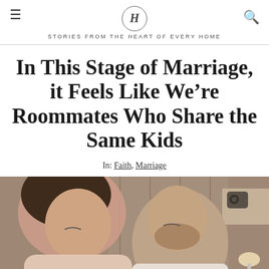H — STORIES FROM THE HEART OF EVERY HOME
In This Stage of Marriage, it Feels Like We're Roommates Who Share the Same Kids
In: Faith, Marriage
[Figure (photo): A man and woman sitting back to back, eyes closed, appearing distant or disconnected. Indoor setting with a lamp and shelf visible in the background.]